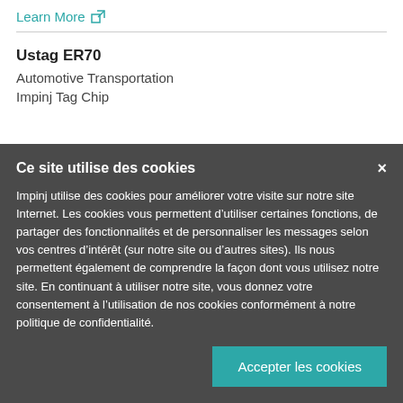Learn More ↗
Ustag ER70
Automotive Transportation
Impinj Tag Chip
Ce site utilise des cookies
Impinj utilise des cookies pour améliorer votre visite sur notre site Internet. Les cookies vous permettent d'utiliser certaines fonctions, de partager des fonctionnalités et de personnaliser les messages selon vos centres d'intérêt (sur notre site ou d'autres sites). Ils nous permettent également de comprendre la façon dont vous utilisez notre site. En continuant à utiliser notre site, vous donnez votre consentement à l'utilisation de nos cookies conformément à notre politique de confidentialité.
Accepter les cookies